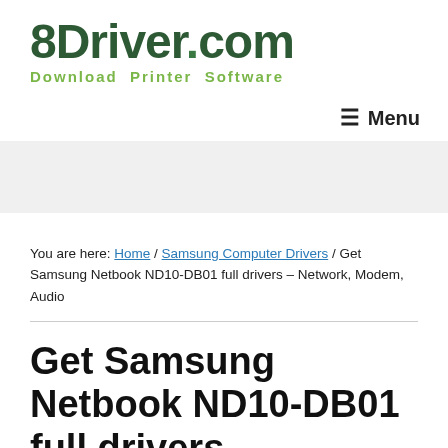[Figure (logo): 8Driver.com logo with green bold text and tagline 'Download Printer Software']
☰ Menu
You are here: Home / Samsung Computer Drivers / Get Samsung Netbook ND10-DB01 full drivers – Network, Modem, Audio
Get Samsung Netbook ND10-DB01 full drivers – Network, Modem, Audio